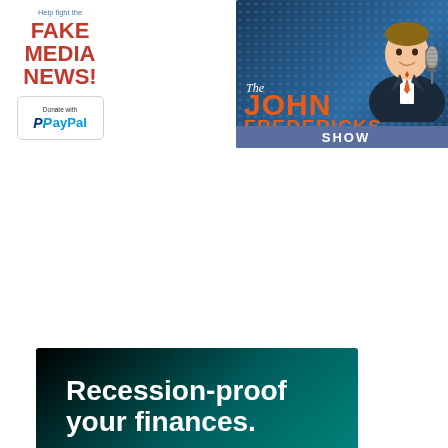[Figure (illustration): Left advertisement: 'Help fight the FAKE MEDIA NEWS!' with a PayPal donate button]
[Figure (illustration): The John Fredericks Show advertisement with a man in suit and microphone on blue background]
[Figure (infographic): Target Trading advertisement: 'Recession-proof your finances. Futures Trading can be a powerful hedge in a Recession, especially if you can trade on your own. Find out if Futures Trading is right for you with a Virtual Campus Tour & Diagnostic Session. WWW.TARGETTRADING.CO']